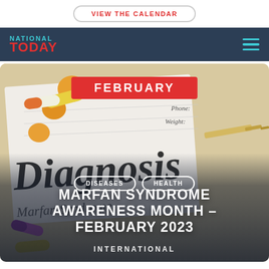VIEW THE CALENDAR
[Figure (logo): National Today logo with navigation bar - dark navy background, teal NATIONAL text, red TODAY text, teal hamburger menu icon]
[Figure (photo): Medical background with pills, capsules, a syringe, and a Diagnosis form with handwriting visible. Overlaid with FEBRUARY badge in red, DISEASES and HEALTH tag pills, main title MARFAN SYNDROME AWARENESS MONTH - FEBRUARY 2023, and INTERNATIONAL subtitle]
MARFAN SYNDROME AWARENESS MONTH – FEBRUARY 2023
INTERNATIONAL